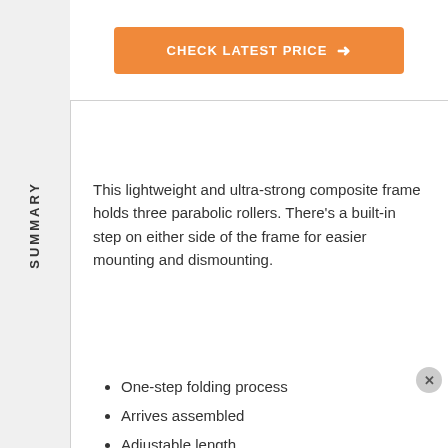CHECK LATEST PRICE →
This lightweight and ultra-strong composite frame holds three parabolic rollers. There's a built-in step on either side of the frame for easier mounting and dismounting.
SUMMARY
PROS
One-step folding process
Arrives assembled
Adjustable length